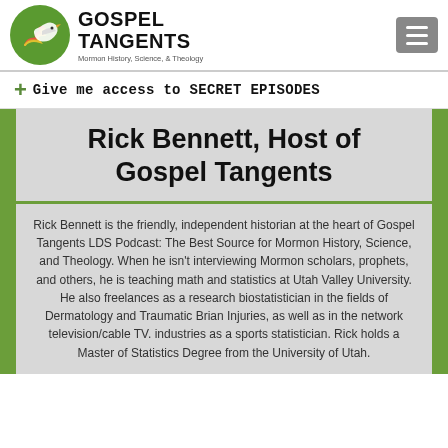Gospel Tangents — Mormon History, Science, & Theology
+ Give me access to SECRET EPISODES
Rick Bennett, Host of Gospel Tangents
Rick Bennett is the friendly, independent historian at the heart of Gospel Tangents LDS Podcast: The Best Source for Mormon History, Science, and Theology. When he isn't interviewing Mormon scholars, prophets, and others, he is teaching math and statistics at Utah Valley University. He also freelances as a research biostatistician in the fields of Dermatology and Traumatic Brian Injuries, as well as in the network television/cable TV. industries as a sports statistician. Rick holds a Master of Statistics Degree from the University of Utah.